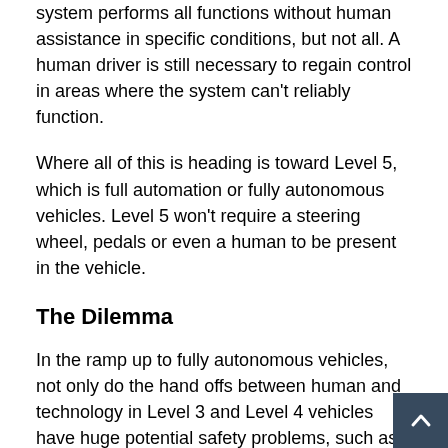system performs all functions without human assistance in specific conditions, but not all. A human driver is still necessary to regain control in areas where the system can't reliably function.
Where all of this is heading is toward Level 5, which is full automation or fully autonomous vehicles. Level 5 won't require a steering wheel, pedals or even a human to be present in the vehicle.
The Dilemma
In the ramp up to fully autonomous vehicles, not only do the hand offs between human and technology in Level 3 and Level 4 vehicles have huge potential safety problems, such as the human driver becoming too complacent, distracted or relaxed to retake control in the tick of a clock. Moreover, though, is the question: When is an automated system really ready for